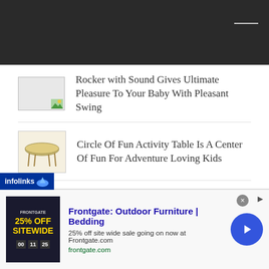Rocker with Sound Gives Ultimate Pleasure To Your Baby With Pleasant Swing
Circle Of Fun Activity Table Is A Center Of Fun For Adventure Loving Kids
Baby Bath Splash Guard
It’s time for a comfy baby bath with this Infant Bath Tub Pad!
[Figure (screenshot): Frontgate outdoor furniture advertisement banner: 25% off sitewide sale]
Frontgate: Outdoor Furniture | Bedding
25% off site wide sale going on now at Frontgate.com
frontgate.com